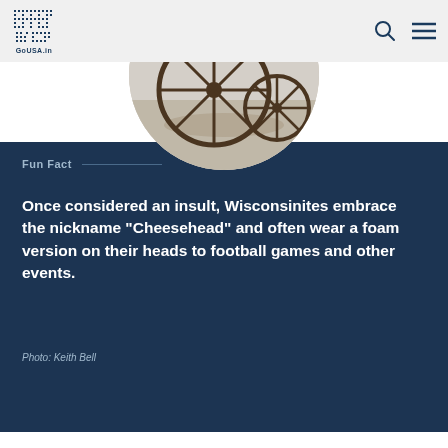GoUSA.in
[Figure (photo): Circular cropped photo of what appears to be a vintage wagon wheel or bicycle wheel on pavement, with light background]
Fun Fact
Once considered an insult, Wisconsinites embrace the nickname “Cheesehead” and often wear a foam version on their heads to football games and other events.
Photo: Keith Bell